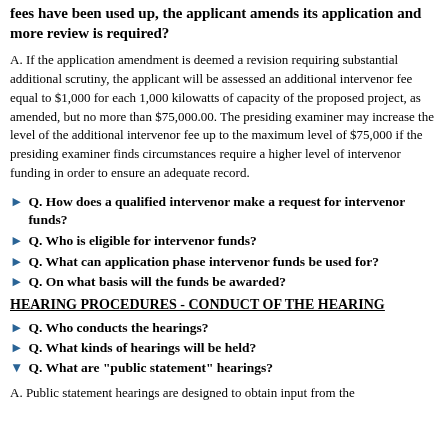fees have been used up, the applicant amends its application and more review is required?
A. If the application amendment is deemed a revision requiring substantial additional scrutiny, the applicant will be assessed an additional intervenor fee equal to $1,000 for each 1,000 kilowatts of capacity of the proposed project, as amended, but no more than $75,000.00. The presiding examiner may increase the level of the additional intervenor fee up to the maximum level of $75,000 if the presiding examiner finds circumstances require a higher level of intervenor funding in order to ensure an adequate record.
Q. How does a qualified intervenor make a request for intervenor funds?
Q. Who is eligible for intervenor funds?
Q. What can application phase intervenor funds be used for?
Q. On what basis will the funds be awarded?
HEARING PROCEDURES - CONDUCT OF THE HEARING
Q. Who conducts the hearings?
Q. What kinds of hearings will be held?
Q. What are "public statement" hearings?
A. Public statement hearings are designed to obtain input from the